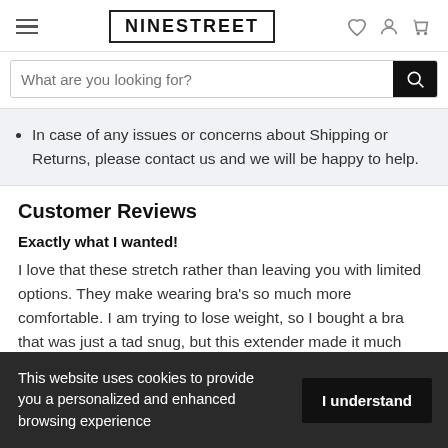NINESTREET
What are you looking for?
In case of any issues or concerns about Shipping or Returns, please contact us and we will be happy to help.
Customer Reviews
Exactly what I wanted!
I love that these stretch rather than leaving you with limited options. They make wearing bra's so much more comfortable. I am trying to lose weight, so I bought a bra that was just a tad snug, but this extender made it much
This website uses cookies to provide you a personalized and enhanced browsing experience